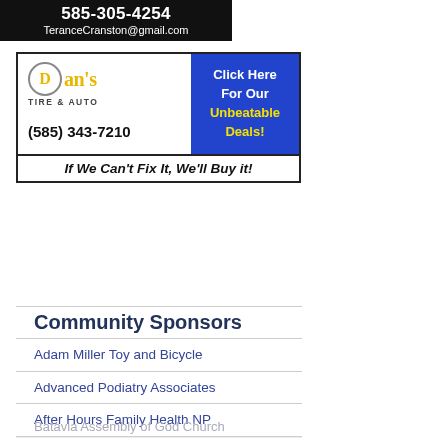[Figure (infographic): Black background ad for Terance Cranston construction with phone number 585-305-4254 and email TeraanceCranston@gmail.com]
[Figure (infographic): Dan's Tire & Auto advertisement with phone (585) 343-7210, blue panel 'Click Here For Our Unbeatable Deals!', and tagline 'If We Can't Fix It, We'll Buy it!']
Community Sponsors
Adam Miller Toy and Bicycle
Advanced Podiatry Associates
After Hours Family Health NP
Alabama Hotel
Alex's Place
Alleghany Farm Services
Angry Charlie's Smokehouse BBQ
A Place for Change - Joan Liggetto
Batavia Assembly of God Church